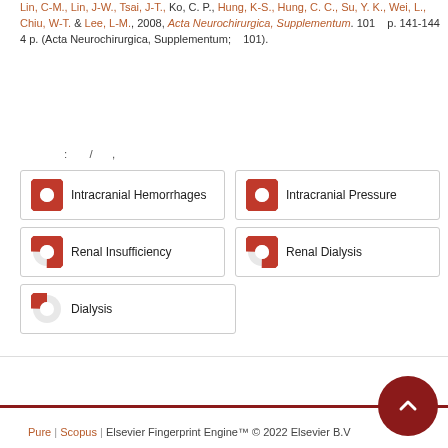Lin, C-M., Lin, J-W., Tsai, J-T., Ko, C. P., Hung, K-S., Hung, C. C., Su, Y. K., Wei, L., Chiu, W-T. & Lee, L-M., 2008, Acta Neurochirurgica, Supplementum. 101 p. 141-144 4 p. (Acta Neurochirurgica, Supplementum; 101).
: / ,
[Figure (infographic): Five keyword boxes with red pie/donut icons indicating percentage relevance. Intracranial Hemorrhages (100%), Intracranial Pressure (100%), Renal Insufficiency (75%), Renal Dialysis (75%), Dialysis (25%).]
Pure | Scopus | Elsevier Fingerprint Engine™ © 2022 Elsevier B.V.